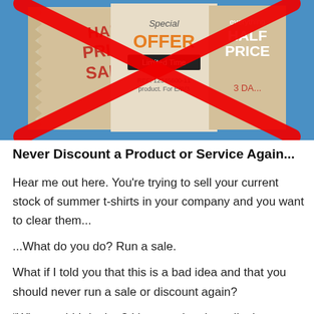[Figure (photo): Photo of three promotional sale signs (Half Price Sale, Special Offer Limited Time, Everything Half Price) with a large red X crossed over them, indicating discounting is bad practice]
Never Discount a Product or Service Again...
Hear me out here. You're trying to sell your current stock of summer t-shirts in your company and you want to clear them...
...What do you do? Run a sale.
What if I told you that this is a bad idea and that you should never run a sale or discount again?
“Why would I do that? I love seeing the spike in